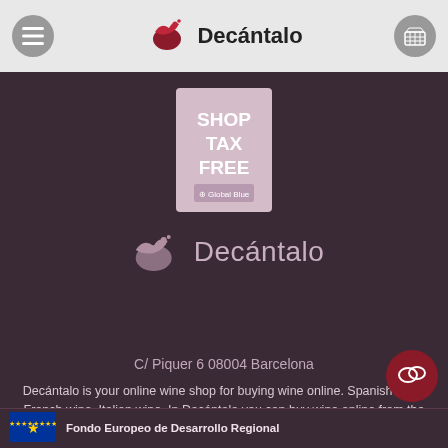[Figure (logo): Decántalo website header with hamburger menu icon on left, Decántalo logo (red/dark red bird/wing shape with text) in center, and shopping basket icon on right, on light gray background]
[Figure (logo): Shop Tax Free Global Blue badge — white rectangle with pink/mauve tint, bold text SHOP TAX FREE, Global Blue logo at bottom]
[Figure (logo): Decántalo logo in muted/gray-pink tones on dark background — stylized wing/bird shape with text Decántalo]
C/ Piquer 6 08004 Barcelona
Decántalo is your online wine shop for buying wine online. Spanish wine, French wine, Italian wine. In Decántalo you can buy wine online from the main wine-producing countries. Because we love wine just as much as you do. Welcome to Decántalo, your trusted wine merchant.
[Figure (logo): EU flag (blue with yellow stars) — Fondo Europeo de Desarrollo Regional footer badge]
Fondo Europeo de Desarrollo Regional